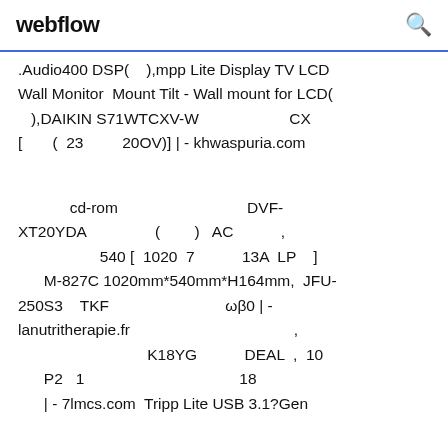webflow [search icon]
.Audio400 DSP(    ),mpp Lite Display TV LCD Wall Monitor Mount Tilt - Wall mount for LCD(   ),DAIKIN S71WTCXV-W                       CX  [        (  23         200V)] | - khwaspuria.com
cd-rom                                          DVF-XT20YDA                 (        )   AC          ,                        540 [  1020  7             13A  LP    ]      M-827C 1020mm*540mm*H164mm,  JFU-250S3    TKF                              ωβ0 | - lanutritherapie.fr                                         ,                                    K18YG              DEAL  ,  10      P2   1                               18      | - 7lmcs.com Tripp Lite USB 3.1?Gen